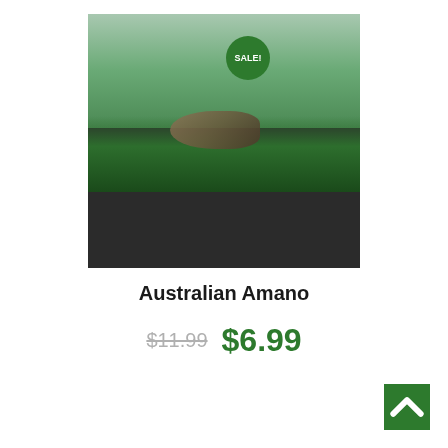[Figure (photo): An aquarium photo showing an Amano shrimp resting on dark substrate and green aquatic moss, with a SALE! badge on the top right corner of the image.]
Australian Amano
$11.99  $6.99